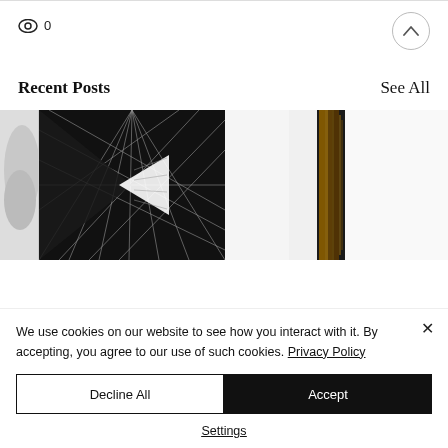0
[Figure (screenshot): Website screenshot showing Recent Posts section with black-and-white architectural/geometric images and a cookie consent banner at the bottom]
Recent Posts
See All
We use cookies on our website to see how you interact with it. By accepting, you agree to our use of such cookies. Privacy Policy
Decline All
Accept
Settings